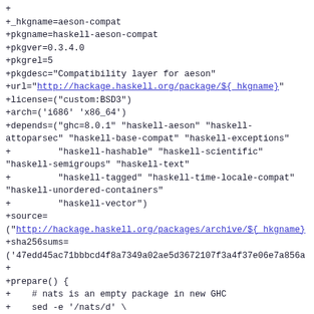+
+_hkgname=aeson-compat
+pkgname=haskell-aeson-compat
+pkgver=0.3.4.0
+pkgrel=5
+pkgdesc="Compatibility layer for aeson"
+url="http://hackage.haskell.org/package/${_hkgname}"
+license=("custom:BSD3")
+arch=('i686' 'x86_64')
+depends=("ghc=8.0.1" "haskell-aeson" "haskell-attoparsec" "haskell-base-compat" "haskell-exceptions"
+         "haskell-hashable" "haskell-scientific" "haskell-semigroups" "haskell-text"
+         "haskell-tagged" "haskell-time-locale-compat" "haskell-unordered-containers"
+         "haskell-vector")
+source=
("http://hackage.haskell.org/packages/archive/${_hkgname}
+sha256sums=
('47edd45ac71bbbcd4f8a7349a02ae5d3672107f3a4f37e06e7a856a
+
+prepare() {
+    # nats is an empty package in new GHC
+    sed -e '/nats/d' \
+        -i ${_hkgname}-${pkgver}/${_hkgname}.cabal
+}
+
+build() {
+    cd "${srcdir}/${_hkgname}-${pkgver}"
+